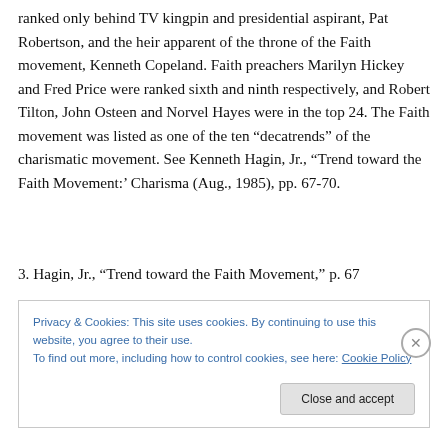ranked only behind TV kingpin and presidential aspirant, Pat Robertson, and the heir apparent of the throne of the Faith movement, Kenneth Copeland. Faith preachers Marilyn Hickey and Fred Price were ranked sixth and ninth respectively, and Robert Tilton, John Osteen and Norvel Hayes were in the top 24. The Faith movement was listed as one of the ten “decatrends” of the charismatic movement. See Kenneth Hagin, Jr., “Trend toward the Faith Movement:’ Charisma (Aug., 1985), pp. 67-70.
3. Hagin, Jr., “Trend toward the Faith Movement,” p. 67
Privacy & Cookies: This site uses cookies. By continuing to use this website, you agree to their use.
To find out more, including how to control cookies, see here: Cookie Policy